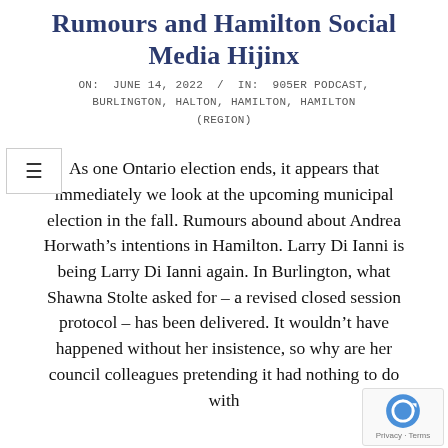Rumours and Hamilton Social Media Hijinx
ON: JUNE 14, 2022 / IN: 905ER PODCAST, BURLINGTON, HALTON, HAMILTON, HAMILTON (REGION)
As one Ontario election ends, it appears that immediately we look at the upcoming municipal election in the fall. Rumours abound about Andrea Horwath’s intentions in Hamilton. Larry Di Ianni is being Larry Di Ianni again. In Burlington, what Shawna Stolte asked for – a revised closed session protocol – has been delivered. It wouldn’t have happened without her insistence, so why are her council colleagues pretending it had nothing to do with